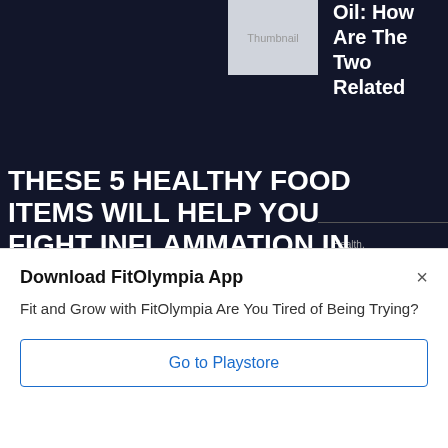THESE 5 HEALTHY FOOD ITEMS WILL HELP YOU FIGHT INFLAMMATION IN YOUR BODY | TRY NOW
BY STAFF / POSTED ON OCTOBER 5, 2021
These powerful super food will help you lower the inflammation in your body and keep all the troubles at the...
[Figure (other): No Thumbnail placeholder image top right]
Oil: How Are The Two Related
Health, Healthy Eating
[Figure (other): No Thumbnail placeholder image bottom right]
Can You Eat Peanut Butter If You Have Acid
Download FitOlympia App
Fit and Grow with FitOlympia Are You Tired of Being Trying?
Go to Playstore